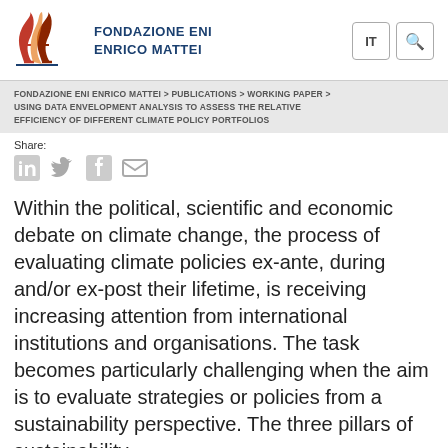[Figure (logo): Fondazione Eni Enrico Mattei logo with stylized flame letters in red/orange on left, and bold dark blue text 'FONDAZIONE ENI ENRICO MATTEI' on right]
FONDAZIONE ENI ENRICO MATTEI > PUBLICATIONS > WORKING PAPER > USING DATA ENVELOPMENT ANALYSIS TO ASSESS THE RELATIVE EFFICIENCY OF DIFFERENT CLIMATE POLICY PORTFOLIOS
Share:
Within the political, scientific and economic debate on climate change, the process of evaluating climate policies ex-ante, during and/or ex-post their lifetime, is receiving increasing attention from international institutions and organisations. The task becomes particularly challenging when the aim is to evaluate strategies or policies from a sustainability perspective. The three pillars of sustainability